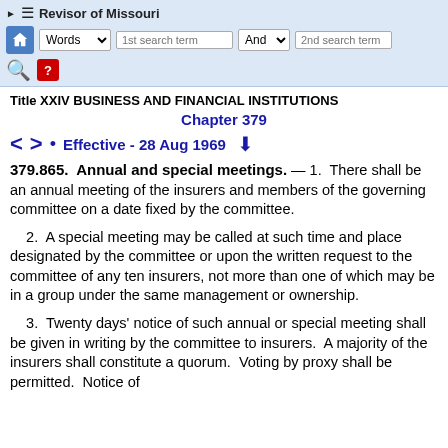Revisor of Missouri — toolbar with search fields
Title XXIV BUSINESS AND FINANCIAL INSTITUTIONS
Chapter 379
Effective - 28 Aug 1969
379.865. Annual and special meetings. — 1. There shall be an annual meeting of the insurers and members of the governing committee on a date fixed by the committee.
2. A special meeting may be called at such time and place designated by the committee or upon the written request to the committee of any ten insurers, not more than one of which may be in a group under the same management or ownership.
3. Twenty days' notice of such annual or special meeting shall be given in writing by the committee to insurers. A majority of the insurers shall constitute a quorum. Voting by proxy shall be permitted. Notice of